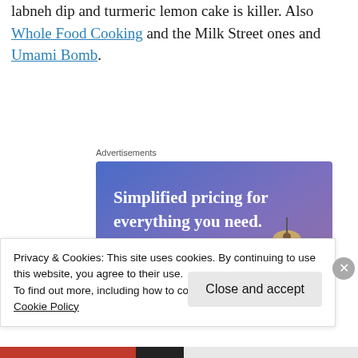labneh dip and turmeric lemon cake is killer. Also Whole Food Cooking and the Milk Street ones and Umami Bomb.
Advertisements
[Figure (screenshot): Advertisement banner with gradient blue-purple background, text 'Simplified pricing for everything you need.' in white, a pink 'Build Your Website' button, and a 3D price tag graphic.]
Privacy & Cookies: This site uses cookies. By continuing to use this website, you agree to their use.
To find out more, including how to control cookies, see here:
Cookie Policy
Close and accept